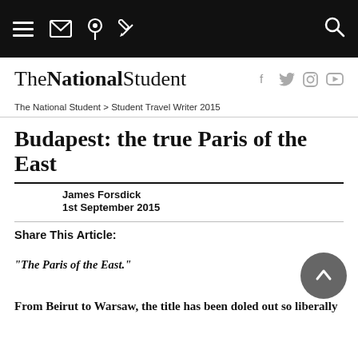The National Student — navigation bar with hamburger, mail, pin, pencil icons and search icon
The National Student
The National Student > Student Travel Writer 2015
Budapest: the true Paris of the East
James Forsdick
1st September 2015
Share This Article:
"The Paris of the East."
From Beirut to Warsaw, the title has been doled out so liberally